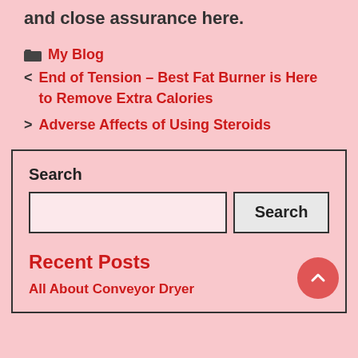and close assurance here.
My Blog
< End of Tension – Best Fat Burner is Here to Remove Extra Calories
> Adverse Affects of Using Steroids
Search
Recent Posts
All About Conveyor Dryer